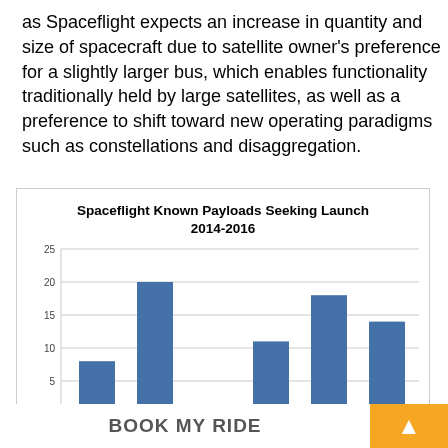as Spaceflight expects an increase in quantity and size of spacecraft due to satellite owner's preference for a slightly larger bus, which enables functionality traditionally held by large satellites, as well as a preference to shift toward new operating paradigms such as constellations and disaggregation.
[Figure (bar-chart): Spaceflight Known Payloads Seeking Launch 2014-2016]
BOOK MY RIDE